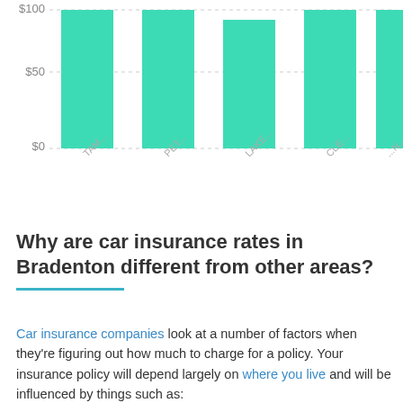[Figure (bar-chart): Car insurance rates by city]
Why are car insurance rates in Bradenton different from other areas?
Car insurance companies look at a number of factors when they're figuring out how much to charge for a policy. Your insurance policy will depend largely on where you live and will be influenced by things such as: